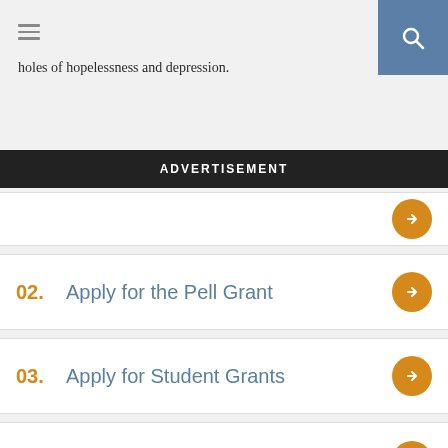holes of hopelessness and depression.
ADVERTISEMENT
02. Apply for the Pell Grant
03. Apply for Student Grants
04. Grants for Women Over 40